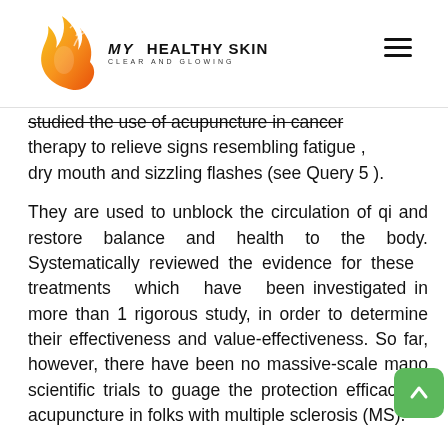MY HEALTHY SKIN CLEAR AND GLOWING
studied the use of acupuncture in cancer therapy to relieve signs resembling fatigue , dry mouth and sizzling flashes (see Query 5 ).
They are used to unblock the circulation of qi and restore balance and health to the body. Systematically reviewed the evidence for these treatments which have been investigated in more than 1 rigorous study, in order to determine their effectiveness and value-effectiveness. So far, however, there have been no massive-scale mano scientific trials to guage the protection efficacy of acupuncture in folks with multiple sclerosis (MS).